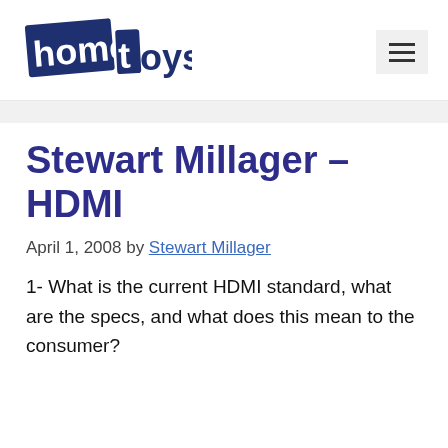home toys
Stewart Millager – HDMI
April 1, 2008 by Stewart Millager
1- What is the current HDMI standard, what are the specs, and what does this mean to the consumer?